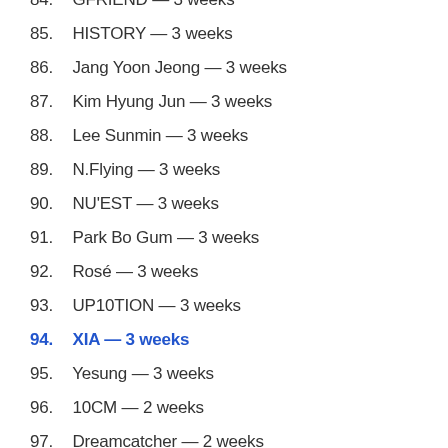84. GFRIEND — 3 weeks
85. HISTORY — 3 weeks
86. Jang Yoon Jeong — 3 weeks
87. Kim Hyung Jun — 3 weeks
88. Lee Sunmin — 3 weeks
89. N.Flying — 3 weeks
90. NU'EST — 3 weeks
91. Park Bo Gum — 3 weeks
92. Rosé — 3 weeks
93. UP10TION — 3 weeks
94. XIA — 3 weeks
95. Yesung — 3 weeks
96. 10CM — 2 weeks
97. Dreamcatcher — 2 weeks
98. EVERGLOW — 2 weeks
99. EXID — 2 weeks